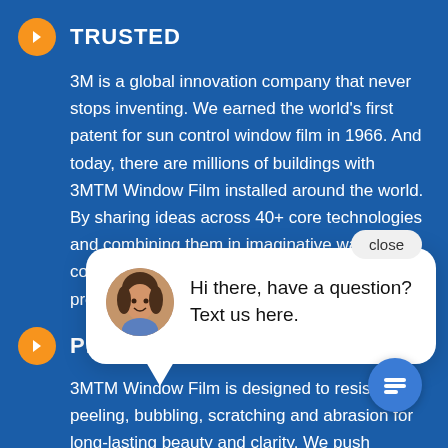TRUSTED
3M is a global innovation company that never stops inventing. We earned the world's first patent for sun control window film in 1966. And today, there are millions of buildings with 3MTM Window Film installed around the world. By sharing ideas across 40+ core technologies and combining them in imaginative ways, we continue to introduce new-to-the-world products.
PROVEN
3MTM Window Film is designed to resist peeling, bubbling, scratching and abrasion for long-lasting beauty and clarity. We push beyond industry standards, subjecting our films to rigorous durability tests at the most
[Figure (screenshot): Chat popup overlay with close button, avatar photo of a woman, and text 'Hi there, have a question? Text us here.' with a chat icon button below.]